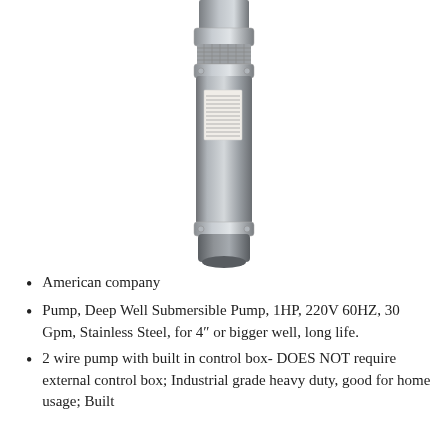[Figure (photo): Vertical stainless steel deep well submersible pump, cylindrical shape with silver metallic finish, showing a label sticker and connector sections.]
American company
Pump, Deep Well Submersible Pump, 1HP, 220V 60HZ, 30 Gpm, Stainless Steel, for 4″ or bigger well, long life.
2 wire pump with built in control box- DOES NOT require external control box; Industrial grade heavy duty, good for home usage; Built